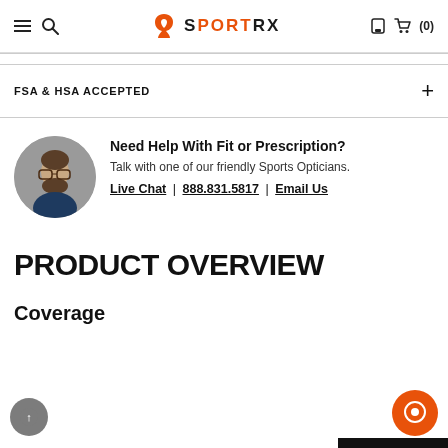SportRx
FSA & HSA ACCEPTED
Need Help With Fit or Prescription? Talk with one of our friendly Sports Opticians. Live Chat | 888.831.5817 | Email Us
PRODUCT OVERVIEW
Coverage